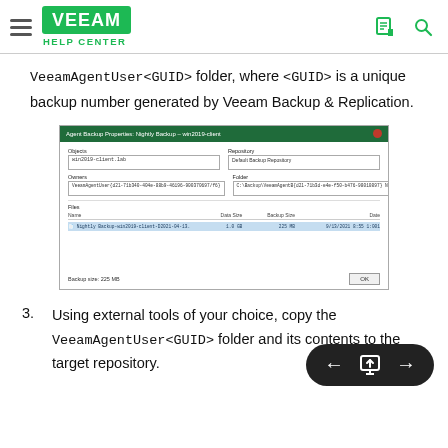Veeam Help Center
VeeamAgentUser<GUID> folder, where <GUID> is a unique backup number generated by Veeam Backup & Replication.
[Figure (screenshot): Screenshot of Agent Backup Properties dialog showing Object, Repository (Default Backup Repository), Owner (VeeamAgentUser GUID), Folder path, and Files list with one backup file entry. Backup size shown at bottom with OK button.]
Using external tools of your choice, copy the VeeamAgentUser<GUID> folder and its contents to the target repository.